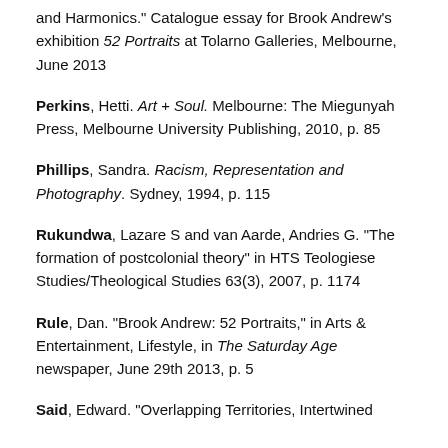and Harmonics." Catalogue essay for Brook Andrew's exhibition 52 Portraits at Tolarno Galleries, Melbourne, June 2013
Perkins, Hetti. Art + Soul. Melbourne: The Miegunyah Press, Melbourne University Publishing, 2010, p. 85
Phillips, Sandra. Racism, Representation and Photography. Sydney, 1994, p. 115
Rukundwa, Lazare S and van Aarde, Andries G. "The formation of postcolonial theory" in HTS Teologiese Studies/Theological Studies 63(3), 2007, p. 1174
Rule, Dan. "Brook Andrew: 52 Portraits," in Arts & Entertainment, Lifestyle, in The Saturday Age newspaper, June 29th 2013, p. 5
Said, Edward. "Overlapping Territories, Intertwined...